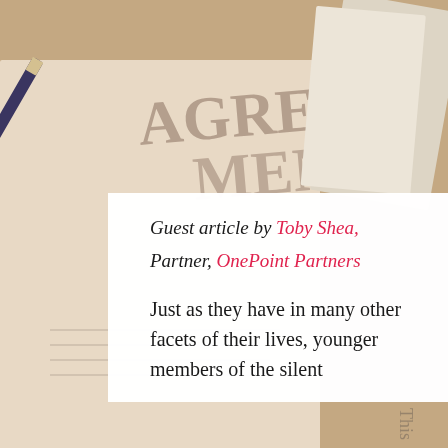[Figure (photo): Blurred background photo of a document with 'AGREEMENT' text, a pen, and paper on a desk]
Guest article by Toby Shea, Partner, OnePoint Partners
Just as they have in many other facets of their lives, younger members of the silent
This website stores cookies on your computer. These cookies are used to collect information about how you interact with our website and allow us to remember you. We use this information in order to improve and customize your browsing experience and for analytics and metrics about our visitors both on this website and other media. To find out more about the cookies we use, see our Privacy Policy.
Accept